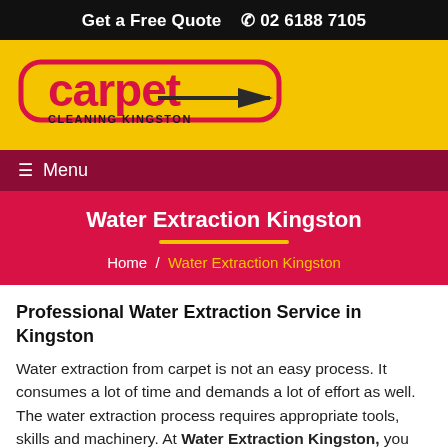Get a Free Quote  ☎ 02 6188 7105
[Figure (logo): Carpet Cleaning Kingston logo on yellow background — red rounded-rectangle outline with 'carpet' in large red letters and 'CLEANING KINGSTON' in black below, with an arrow motif]
≡ Menu
Water Extraction Kingston
Home / Water Extraction Kingston
Professional Water Extraction Service in Kingston
Water extraction from carpet is not an easy process. It consumes a lot of time and demands a lot of effort as well. The water extraction process requires appropriate tools, skills and machinery. At Water Extraction Kingston, you will be served with the best service.